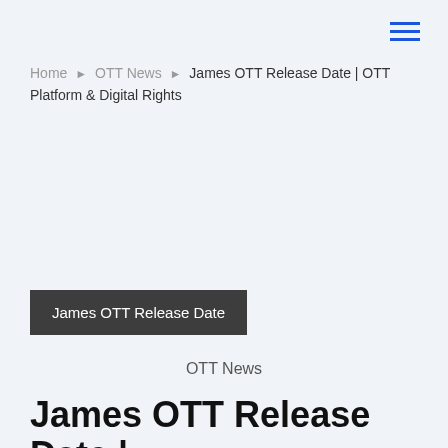☰ (hamburger menu icon)
Home ▶ OTT News ▶ James OTT Release Date | OTT Platform & Digital Rights
James OTT Release Date
OTT News
James OTT Release Date |